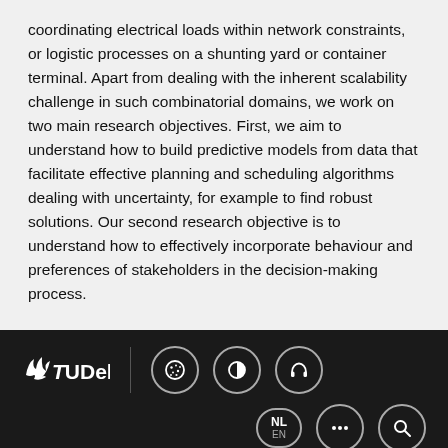coordinating electrical loads within network constraints, or logistic processes on a shunting yard or container terminal. Apart from dealing with the inherent scalability challenge in such combinatorial domains, we work on two main research objectives. First, we aim to understand how to build predictive models from data that facilitate effective planning and scheduling algorithms dealing with uncertainty, for example to find robust solutions. Our second research objective is to understand how to effectively incorporate behaviour and preferences of stakeholders in the decision-making process.
[Figure (logo): TU Delft logo and website navigation footer bar with cookie, contrast, headphones icons and NL/EN language selector, more options, and search icons]